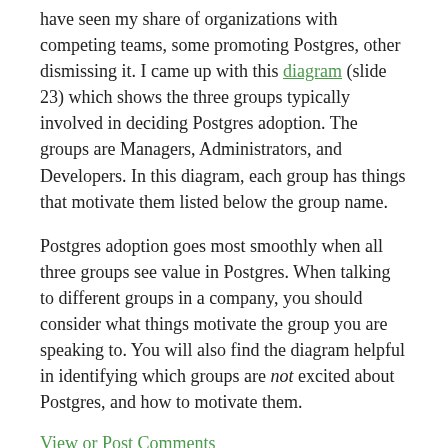have seen my share of organizations with competing teams, some promoting Postgres, other dismissing it. I came up with this diagram (slide 23) which shows the three groups typically involved in deciding Postgres adoption. The groups are Managers, Administrators, and Developers. In this diagram, each group has things that motivate them listed below the group name.
Postgres adoption goes most smoothly when all three groups see value in Postgres. When talking to different groups in a company, you should consider what things motivate the group you are speaking to. You will also find the diagram helpful in identifying which groups are not excited about Postgres, and how to motivate them.
View or Post Comments
Cloud Vendor Monetization of Open Source
Monday, September 28, 2020
Since open source became a powerful force in the software